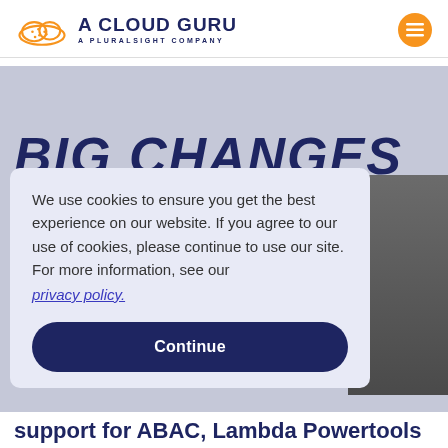A CLOUD GURU — A PLURALSIGHT COMPANY
BIG CHANGES
We use cookies to ensure you get the best experience on our website. If you agree to our use of cookies, please continue to use our site. For more information, see our privacy policy.
Continue
support for ABAC, Lambda Powertools